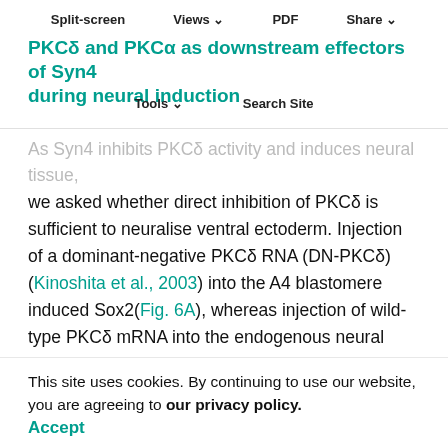Split-screen  Views  PDF  Share  Tools  Search Site
PKCδ and PKCα as downstream effectors of Syn4 during neural induction
As Syn4 inhibits PKCδ activity and induces neural tissue, we asked whether direct inhibition of PKCδ is sufficient to neuralise ventral ectoderm. Injection of a dominant-negative PKCδ RNA (DN-PKCδ)(Kinoshita et al., 2003) into the A4 blastomere induced Sox2(Fig. 6A), whereas injection of wild-type PKCδ mRNA into the endogenous neural plate region led to inhibition of neural plate marker expression (see Fig. S1C,E in the supplementary material). Furthermore, neural induction by Syn4 mRNA was inhibited by co-injection of PKCδ mRNA(Fig. 6D). These results support the conclusion that Syn4 inhibits PKCδ expression and that this inhibition is required for the neuralising activity of Syn4.
This site uses cookies. By continuing to use our website, you are agreeing to our privacy policy.
Accept